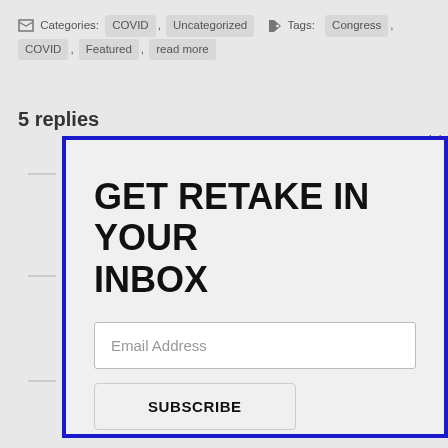Categories: COVID, Uncategorized   Tags: Congress, COVID, Featured, read more
5 replies
[Figure (screenshot): Modal popup with blue border containing newsletter signup form. Title: GET RETAKE IN YOUR INBOX. Email Address input field. SUBSCRIBE button. Text: Join 4,164 other subscribers. Close (×) button at top right.]